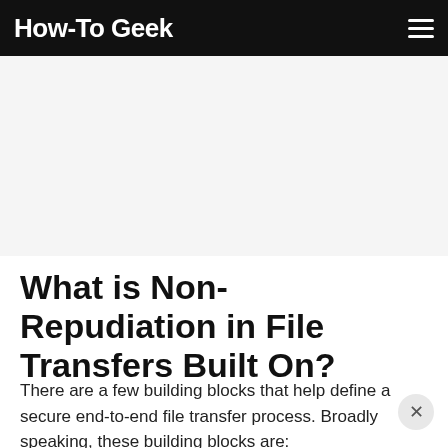How-To Geek
What is Non-Repudiation in File Transfers Built On?
There are a few building blocks that help define a secure end-to-end file transfer process. Broadly speaking, these building blocks are: